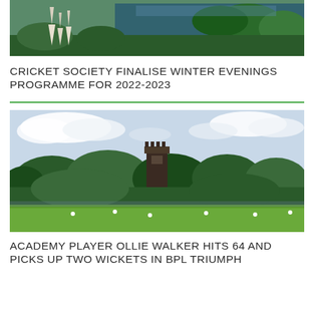[Figure (photo): Aerial view of a cricket ground or historic site near a river, with gothic spires visible, surrounded by green trees]
CRICKET SOCIETY FINALISE WINTER EVENINGS PROGRAMME FOR 2022-2023
[Figure (photo): Cricket match being played at a ground with a large gothic cathedral/church tower visible in the background, surrounded by trees under a cloudy sky]
ACADEMY PLAYER OLLIE WALKER HITS 64 AND PICKS UP TWO WICKETS IN BPL TRIUMPH